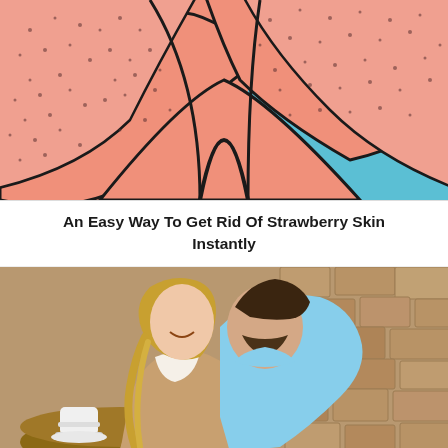[Figure (illustration): Illustration of skin with visible pores/bumps (strawberry skin) on a teal/blue background, drawn in a comic/cartoon style with pink skin tones and dark outline.]
An Easy Way To Get Rid Of Strawberry Skin Instantly
[Figure (photo): Photograph of a couple at an outdoor cafe table with stone wall background. A man in a light blue shirt leans in close to a smiling woman with long wavy blonde hair. Coffee cups on the table.]
Anti-relationship Folks Might Have Their Own